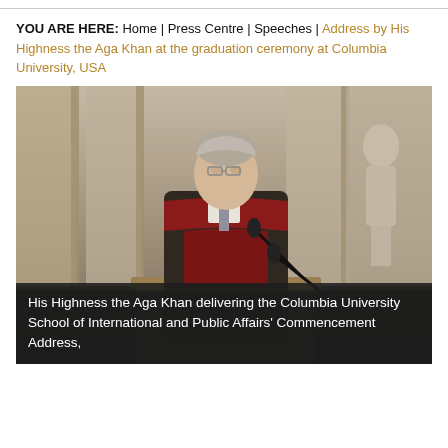YOU ARE HERE:  Home | Press Centre | Speeches | Address by His Highness the Aga Khan at the graduation ceremony at Columbia University, USA
[Figure (photo): His Highness the Aga Khan standing at a podium in academic regalia (dark gown with red/crimson hood) delivering a commencement address, with Gothic stone architecture and a statue visible in the background.]
His Highness the Aga Khan delivering the Columbia University School of International and Public Affairs' Commencement Address,